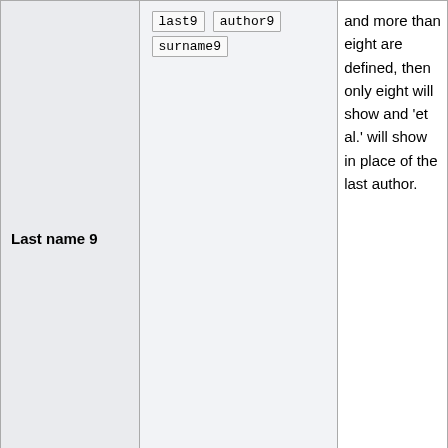| Parameter | Aliases | Description |
| --- | --- | --- |
| Last name 9 | last9 | author9
surname9 | and more than eight are defined, then only eight will show and 'et al.' will show in place of the last author. |
| First name 9 | first9 | given9 | Given or first name, middle names, or initials of the ninth author; don't wikilink. |
|  |  | Title of existing Wikipedia article about the author |